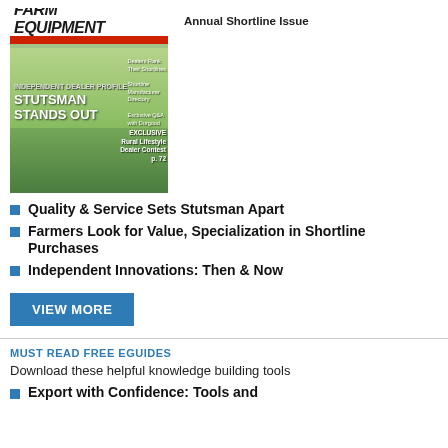[Figure (photo): Magazine cover of Farm Equipment, Annual Shortline Issue, featuring tractor in field and headline STUTSMAN STANDS OUT]
Annual Shortline Issue
Quality & Service Sets Stutsman Apart
Farmers Look for Value, Specialization in Shortline Purchases
Independent Innovations: Then & Now
VIEW MORE
MUST READ FREE EGUIDES
Download these helpful knowledge building tools
Export with Confidence: Tools and